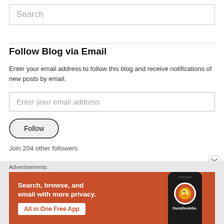Search
Follow Blog via Email
Enter your email address to follow this blog and receive notifications of new posts by email.
Enter your email address
Follow
Join 204 other followers
Advertisements
[Figure (screenshot): DuckDuckGo advertisement banner with orange background showing text 'Search, browse, and email with more privacy. All in One Free App' with a phone mockup showing the DuckDuckGo logo]